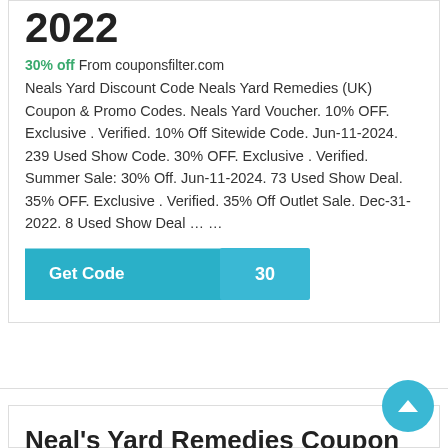2022
30% off From couponsfilter.com
Neals Yard Discount Code Neals Yard Remedies (UK) Coupon & Promo Codes. Neals Yard Voucher. 10% OFF. Exclusive . Verified. 10% Off Sitewide Code. Jun-11-2024. 239 Used Show Code. 30% OFF. Exclusive . Verified. Summer Sale: 30% Off. Jun-11-2024. 73 Used Show Deal. 35% OFF. Exclusive . Verified. 35% Off Outlet Sale. Dec-31-2022. 8 Used Show Deal … …
[Figure (other): Get Code button with code badge showing '30']
Neal's Yard Remedies Coupon & Promo Code | Verified ...
15% off From couponannie.com